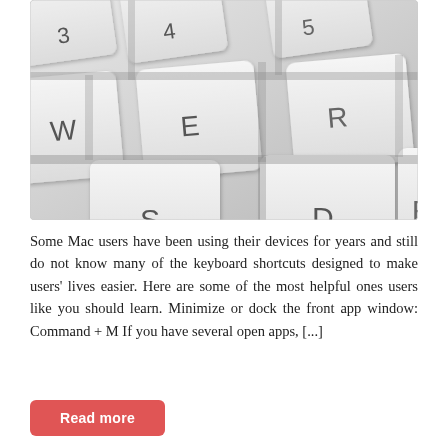[Figure (photo): Close-up photo of a white Mac keyboard showing keys W, E, R, S, D, F and number keys 3, 4, 5 in a shallow depth-of-field shot. Keys are white/silver with dark letter engravings on a light grey background.]
Some Mac users have been using their devices for years and still do not know many of the keyboard shortcuts designed to make users' lives easier. Here are some of the most helpful ones users like you should learn. Minimize or dock the front app window: Command + M If you have several open apps, [...]
Read more